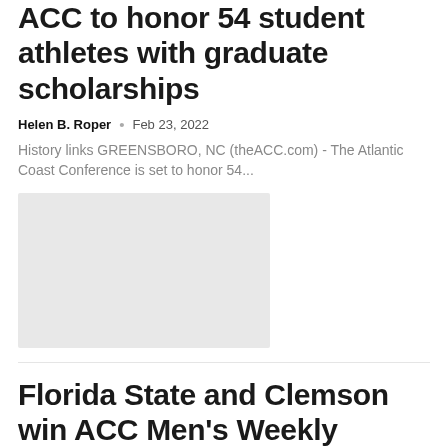ACC to honor 54 student athletes with graduate scholarships
Helen B. Roper • Feb 23, 2022
History links GREENSBORO, NC (theACC.com) - The Atlantic Coast Conference is set to honor 54...
[Figure (photo): Gray placeholder image for article thumbnail]
Florida State and Clemson win ACC Men's Weekly Tennis Awards